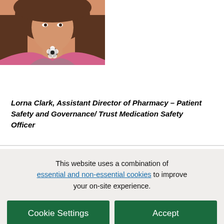[Figure (photo): Portrait photo of a woman with brown hair wearing a floral necklace and pink top, cropped to show upper body and face]
Lorna Clark, Assistant Director of Pharmacy – Patient Safety and Governance/ Trust Medication Safety Officer
This website uses a combination of essential and non-essential cookies to improve your on-site experience.